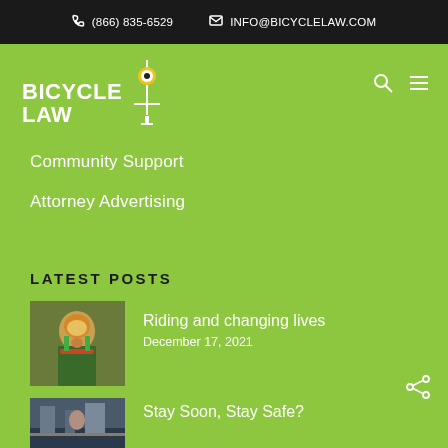(866) 835-6529  INFO@BICYCLELAW.COM
[Figure (logo): Bicycle Law logo with cyclist icon in yellow and white bold text]
Community Support
Attorney Advertising
LATEST POSTS
[Figure (photo): Smiling cyclist wearing colorful helmet and jersey]
Riding and changing lives
December 17, 2021
[Figure (photo): Second post thumbnail - street scene]
Stay Soon, Stay Safe?